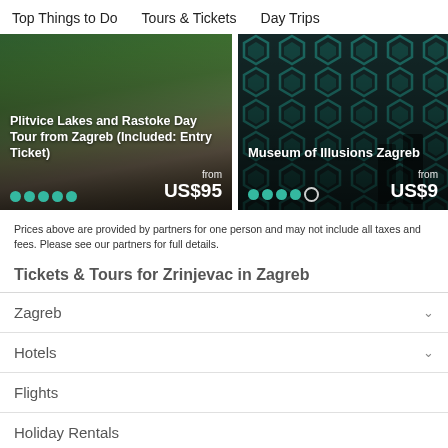Top Things to Do   Tours & Tickets   Day Trips
[Figure (photo): Plitvice Lakes scenic photo with wooden walkway over water and surrounding forest]
[Figure (photo): Museum of Illusions Zagreb with teal geometric pattern wall and visitors]
Prices above are provided by partners for one person and may not include all taxes and fees. Please see our partners for full details.
Tickets & Tours for Zrinjevac in Zagreb
Zagreb
Hotels
Flights
Holiday Rentals
Things to Do